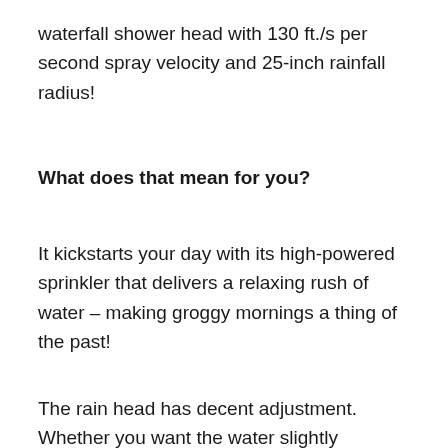waterfall shower head with 130 ft./s per second spray velocity and 25-inch rainfall radius!
What does that mean for you?
It kickstarts your day with its high-powered sprinkler that delivers a relaxing rush of water – making groggy mornings a thing of the past!
The rain head has decent adjustment. Whether you want the water slightly